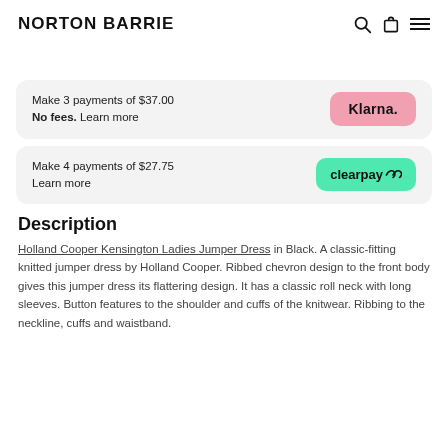NORTON BARRIE
Make 3 payments of $37.00
No fees. Learn more [Klarna.]
Make 4 payments of $27.75
Learn more [clearpay]
Description
Holland Cooper Kensington Ladies Jumper Dress in Black. A classic-fitting knitted jumper dress by Holland Cooper. Ribbed chevron design to the front body gives this jumper dress its flattering design. It has a classic roll neck with long sleeves. Button features to the shoulder and cuffs of the knitwear. Ribbing to the neckline, cuffs and waistband.